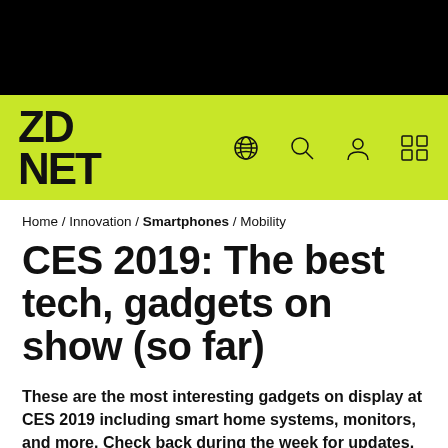[Figure (logo): ZDNet logo on lime green navigation bar with globe, search, user, and grid icons]
Home / Innovation / Smartphones / Mobility
CES 2019: The best tech, gadgets on show (so far)
These are the most interesting gadgets on display at CES 2019 including smart home systems, monitors, and more. Check back during the week for updates.